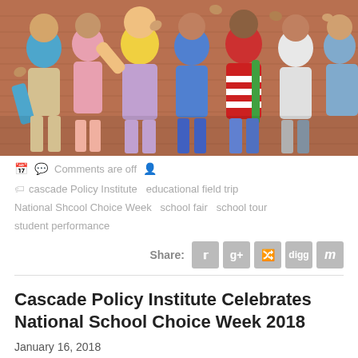[Figure (photo): Group of school children giving thumbs up in front of a brick wall, wearing backpacks and colorful clothes]
Comments are off
cascade Policy Institute  educational field trip  National Shcool Choice Week  school fair  school tour  student performance
Share:
Cascade Policy Institute Celebrates National School Choice Week 2018
January 16, 2018